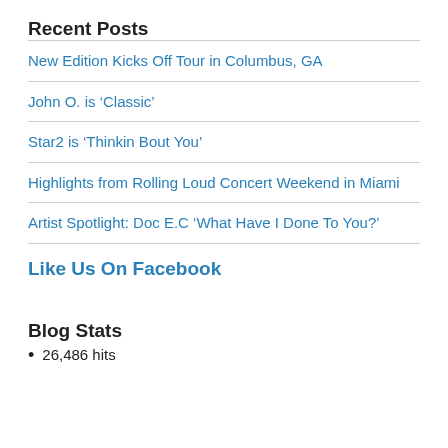Recent Posts
New Edition Kicks Off Tour in Columbus, GA
John O. is ‘Classic’
Star2 is ‘Thinkin Bout You’
Highlights from Rolling Loud Concert Weekend in Miami
Artist Spotlight: Doc E.C ‘What Have I Done To You?’
Like Us On Facebook
Blog Stats
26,486 hits